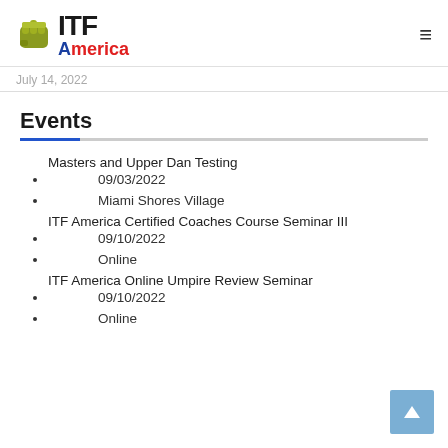ITF America
July 14, 2022
Events
Masters and Upper Dan Testing
09/03/2022
Miami Shores Village
ITF America Certified Coaches Course Seminar III
09/10/2022
Online
ITF America Online Umpire Review Seminar
09/10/2022
Online